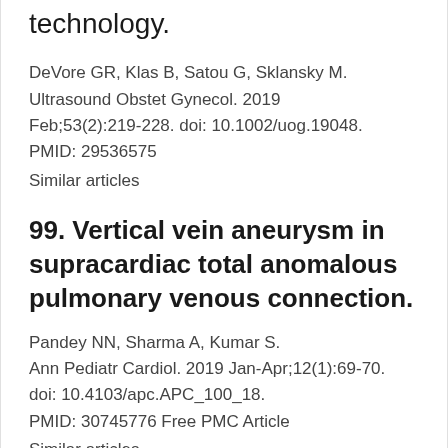technology.
DeVore GR, Klas B, Satou G, Sklansky M. Ultrasound Obstet Gynecol. 2019 Feb;53(2):219-228. doi: 10.1002/uog.19048. PMID: 29536575
Similar articles
99. Vertical vein aneurysm in supracardiac total anomalous pulmonary venous connection.
Pandey NN, Sharma A, Kumar S. Ann Pediatr Cardiol. 2019 Jan-Apr;12(1):69-70. doi: 10.4103/apc.APC_100_18. PMID: 30745776 Free PMC Article
Similar articles
Select item 30745775